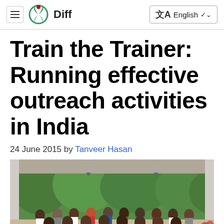Diff — English
Train the Trainer: Running effective outreach activities in India
24 June 2015 by Tanveer Hasan
[Figure (photo): Group photo of participants at the Train the Trainer event in India, standing under a covered outdoor area with greenery in the background.]